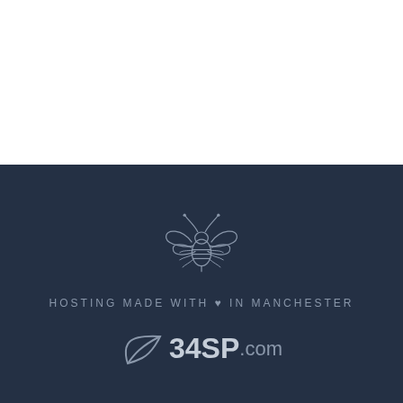[Figure (illustration): White blank section at the top of the page]
[Figure (logo): 34SP.com logo with Manchester bee icon and tagline 'HOSTING MADE WITH ♥ IN MANCHESTER']